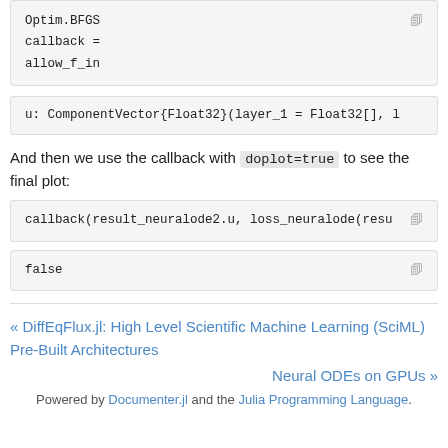Optim.BFGS
callback =
allow_f_in
u: ComponentVector{Float32}(layer_1 = Float32[], l
And then we use the callback with doplot=true to see the final plot:
callback(result_neuralode2.u, loss_neuralode(resu
false
« DiffEqFlux.jl: High Level Scientific Machine Learning (SciML) Pre-Built Architectures
Neural ODEs on GPUs »
Powered by Documenter.jl and the Julia Programming Language.